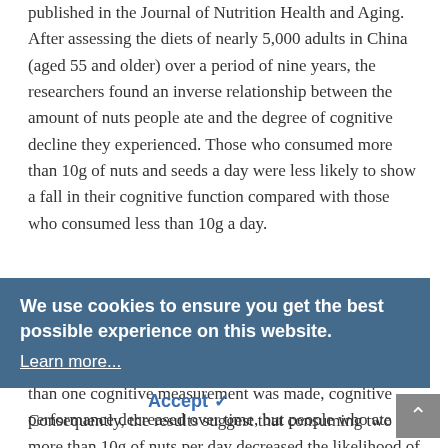published in the Journal of Nutrition Health and Aging. After assessing the diets of nearly 5,000 adults in China (aged 55 and older) over a period of nine years, the researchers found an inverse relationship between the amount of nuts people ate and the degree of cognitive decline they experienced. Those who consumed more than 10g of nuts and seeds a day were less likely to show a fall in their cognitive function compared with those who consumed less than 10g a day.
Out of the 4,822 participants in the study, 67% had their cognitive ability tested twice (only 16% were tested more than twice over the course of the study). Where more than one cognitive measurement was made, cognitive performance decreased over time, but people who ate more than 10g of nuts per day decreased the likelihood of this decline.
Consequently, the results suggest that consuming two